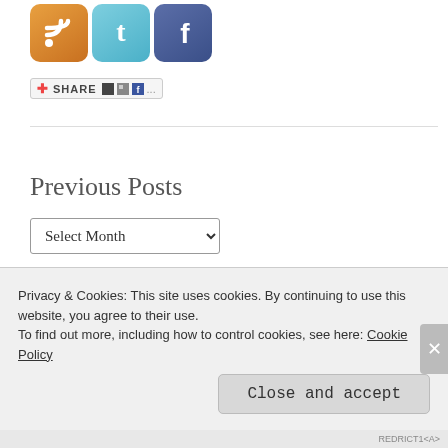[Figure (illustration): Three social media icon buttons: RSS (orange), Twitter (teal/blue), Facebook (dark blue)]
[Figure (other): Share widget bar with plus icon, SHARE text, and small social sharing icons (delicious, digg, facebook, etc.)]
Previous Posts
[Figure (other): Dropdown select box with 'Select Month' placeholder and dropdown arrow]
Top Posts
Privacy & Cookies: This site uses cookies. By continuing to use this website, you agree to their use.
To find out more, including how to control cookies, see here: Cookie Policy
Close and accept